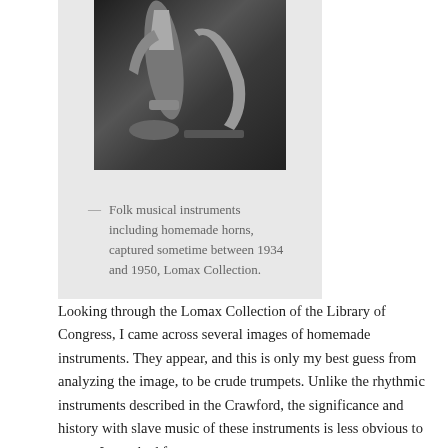[Figure (photo): Black and white photograph of folk musical instruments including homemade horns, from the Lomax Collection, captured sometime between 1934 and 1950.]
— Folk musical instruments including homemade horns, captured sometime between 1934 and 1950, Lomax Collection.
Looking through the Lomax Collection of the Library of Congress, I came across several images of homemade instruments. They appear, and this is only my best guess from analyzing the image, to be crude trumpets. Unlike the rhythmic instruments described in the Crawford, the significance and history with slave music of these instruments is less obvious to me, so I searched for